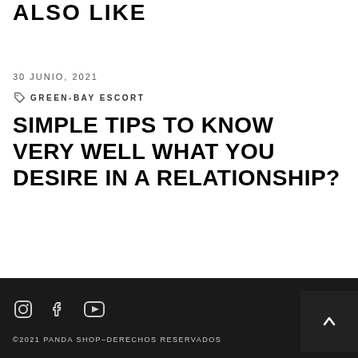ALSO LIKE
30 JUNIO, 2021
GREEN-BAY ESCORT
SIMPLE TIPS TO KNOW VERY WELL WHAT YOU DESIRE IN A RELATIONSHIP?
©2021 PANDA SHOP–DERECHOS RESERVADOS